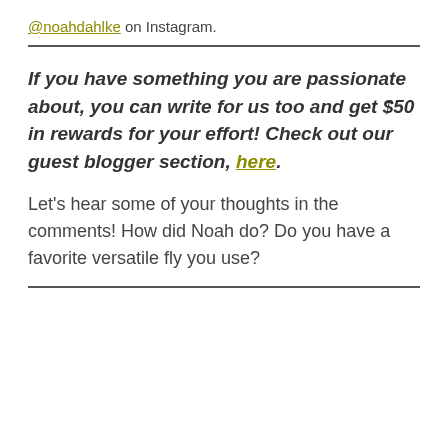@noahdahlke on Instagram.
If you have something you are passionate about, you can write for us too and get $50 in rewards for your effort! Check out our guest blogger section, here.
Let's hear some of your thoughts in the comments! How did Noah do? Do you have a favorite versatile fly you use?